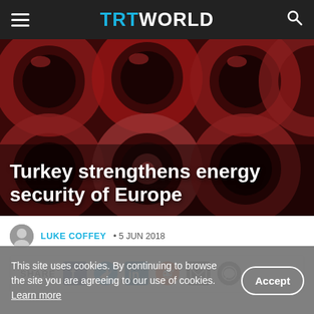TRT WORLD
[Figure (photo): Close-up of red industrial pipes, blurred/bokeh background, used as hero image for article about Turkey strengthening energy security of Europe]
Turkey strengthens energy security of Europe
LUKE COFFEY • 5 JUN 2018
SHARE [Facebook, Twitter, LinkedIn, Reddit, Email, WhatsApp icons]
This site uses cookies. By continuing to browse the site you are agreeing to our use of cookies. Learn more